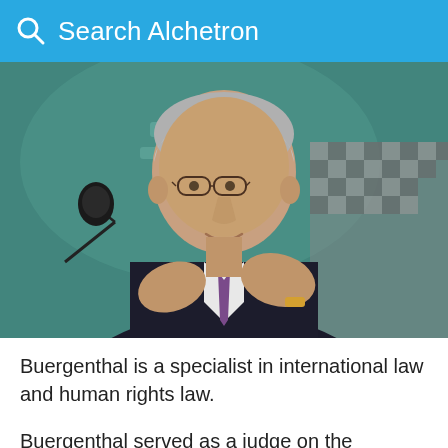Search Alchetron
[Figure (photo): Elderly man with grey hair and glasses, wearing a dark pinstripe suit and purple tie, gesturing with both hands while seated in a woven chair, with a microphone visible to his left and a teal/green blurred background.]
Buergenthal is a specialist in international law and human rights law.
Buergenthal served as a judge on the International Court of Justice at The Hague from Marc